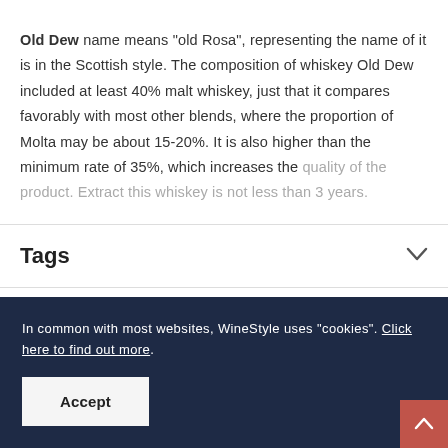Old Dew name means "old Rosa", representing the name of it is in the Scottish style. The composition of whiskey Old Dew included at least 40% malt whiskey, just that it compares favorably with most other blends, where the proportion of Molta may be about 15-20%. It is also higher than the minimum rate of 35%, which increases the quality of the product. Extract this whiskey is not less than 3 years.
Tags
In common with most websites, WineStyle uses "cookies". Click here to find out more.